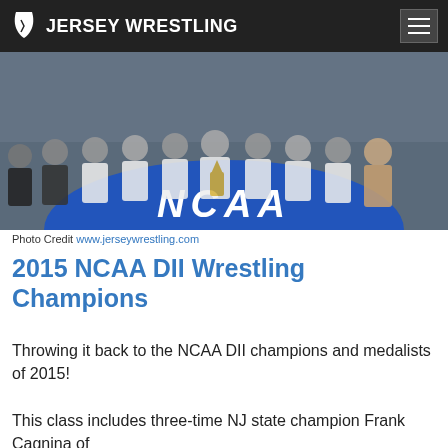JERSEY WRESTLING
[Figure (photo): Team photo of NCAA DII wrestling champions on a blue NCAA mat, holding trophy, wearing white championship t-shirts]
Photo Credit www.jerseywrestling.com
2015 NCAA DII Wrestling Champions
Throwing it back to the NCAA DII champions and medalists of 2015!
This class includes three-time NJ state champion Frank Cagnina of